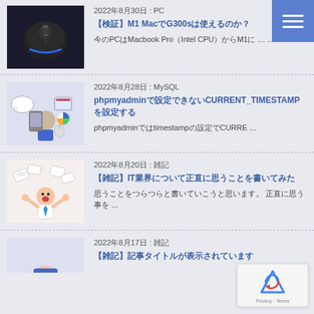[Figure (screenshot): Logitech G300s gaming mouse with blue LED light on dark background]
2022年8月30日 : PC
【検証】M1 MacでG300sは使えるのか？
今のPCはMacbook Pro（Intel CPU）からM1に … ...
[Figure (illustration): Illustration of a person using devices with speech bubbles and UI elements]
2022年8月28日 : MySQL
phpmyadminで設定できないCURRENT_TIMESTAMPを設定する
phpmyadminではtimestampの設定でCURRE ...
[Figure (illustration): Cartoon of stressed person surrounded by flying papers]
2022年8月20日 : 雑記
【雑記】IT業界について正直に思うことを書いてみた
思うことをつらつらと書いていこうと思います。 正直に思う 事を ...
[Figure (illustration): Cartoon person with glasses partial view at bottom]
2022年8月17日 : 雑記
【雑記】記事タイトルが表示されています